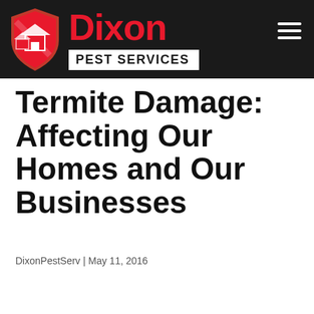[Figure (logo): Dixon Pest Services logo with red shield containing a house icon, 'Dixon' in large red text, and 'PEST SERVICES' in a white box on dark background header]
Termite Damage: Affecting Our Homes and Our Businesses
DixonPestServ | May 11, 2016
[Figure (other): Google review card with Google 'G' logo, 5 gold stars, review text 'good service, professional, quick More', reviewer name 'carmen norris', and close button]